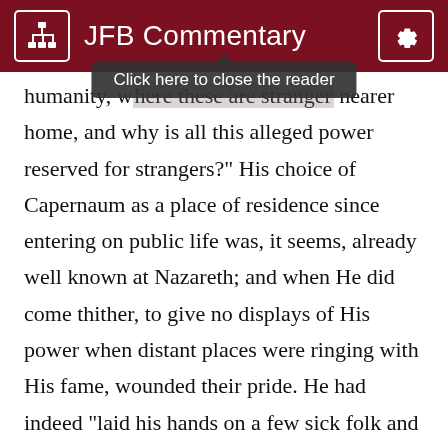JFB Commentary
humanity, where these are stranger things, nearer home, and why is all this alleged power reserved for strangers?" His choice of Capernaum as a place of residence since entering on public life was, it seems, already well known at Nazareth; and when He did come thither, to give no displays of His power when distant places were ringing with His fame, wounded their pride. He had indeed "laid his hands on a few sick folk and healed them" (Mr 6:5); but this seems to have been done quite privately the general unbelief precluding anything more open.
24. And he said, &c.—He replies to the one